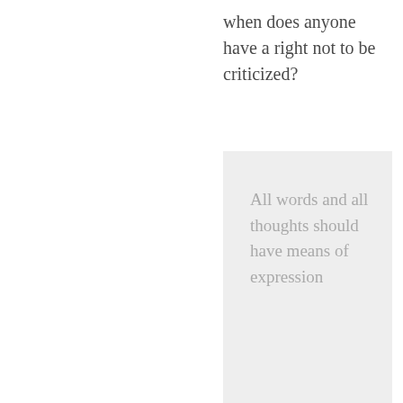when does anyone have a right not to be criticized?
All words and all thoughts should have means of expression